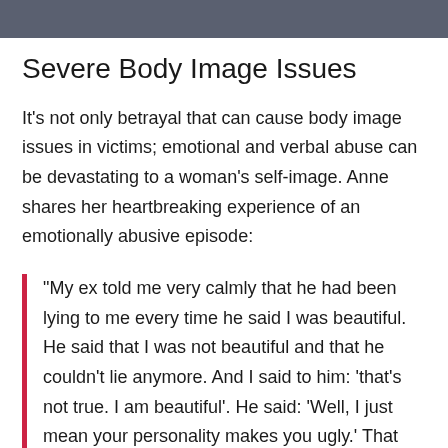Severe Body Image Issues
It's not only betrayal that can cause body image issues in victims; emotional and verbal abuse can be devastating to a woman's self-image. Anne shares her heartbreaking experience of an emotionally abusive episode:
“My ex told me very calmly that he had been lying to me every time he said I was beautiful. He said that I was not beautiful and that he couldn’t lie anymore. And I said to him: ‘that’s not true. I am beautiful’. He said: ‘Well, I just mean your personality makes you ugly.’ That hurt me more than anything because it was like, wait a minute... you physically are